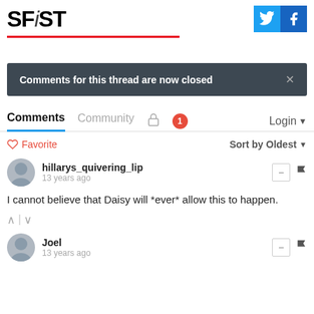SFiST
Comments for this thread are now closed
Comments  Community  Login
♡ Favorite  Sort by Oldest
hillarys_quivering_lip
13 years ago
I cannot believe that Daisy will *ever* allow this to happen.
Joel
13 years ago